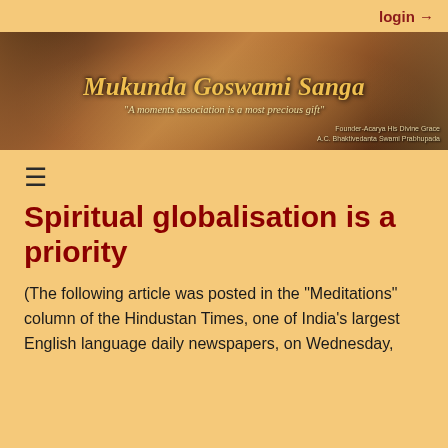login →
[Figure (photo): Banner image for 'Mukunda Goswami Sanga' website. Shows two spiritual figures against an Indian temple background. Title reads: Mukunda Goswami Sanga. Subtitle: 'A moments association is a most precious gift'. Credit: Founder-Acarya His Divine Grace A.C. Bhaktivedanta Swami Prabhupada.]
Spiritual globalisation is a priority
(The following article was posted in the "Meditations" column of the Hindustan Times, one of India's largest English language daily newspapers, on Wednesday,